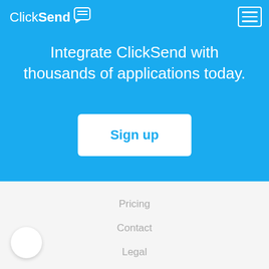[Figure (logo): ClickSend logo with speech bubble icon and navigation hamburger menu on blue background]
Integrate ClickSend with thousands of applications today.
Sign up
Pricing
Contact
Legal